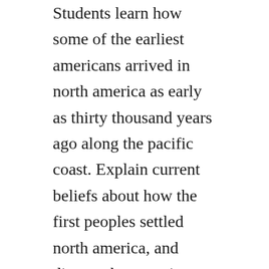Students learn how some of the earliest americans arrived in north america as early as thirty thousand years ago along the pacific coast. Explain current beliefs about how the first peoples settled north america, and discuss the ways in which they became differentiated from one another over time.
Even before europeans arrived in the area we now know as montana, montana indian nations were feeling the impacts of colonization. As such, the text is organized around anthropological concepts such as language, kinship, marriage and family life